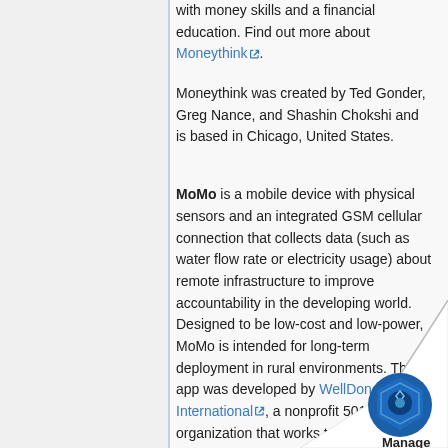with money skills and a financial education. Find out more about Moneythink.
Moneythink was created by Ted Gonder, Greg Nance, and Shashin Chokshi and is based in Chicago, United States.
MoMo is a mobile device with physical sensors and an integrated GSM cellular connection that collects data (such as water flow rate or electricity usage) about remote infrastructure to improve accountability in the developing world. Designed to be low-cost and low-power, MoMo is intended for long-term deployment in rural environments. The app was developed by WellDone International, a nonprofit 501 organization that works to improve access to clean water and